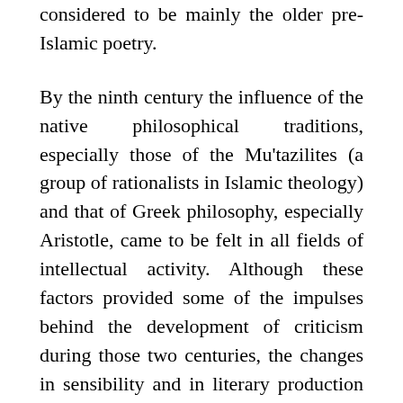considered to be mainly the older pre-Islamic poetry.
By the ninth century the influence of the native philosophical traditions, especially those of the Mu'tazilites (a group of rationalists in Islamic theology) and that of Greek philosophy, especially Aristotle, came to be felt in all fields of intellectual activity. Although these factors provided some of the impulses behind the development of criticism during those two centuries, the changes in sensibility and in literary production were the driving force behind the rise of critical practice and theory. Innovative poets such as Abu Nuwas (762-